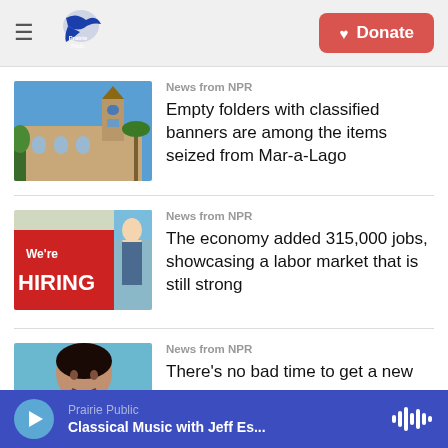Prairie Public | Donate
[Figure (photo): Aerial or ground-level photo of Mar-a-Lago estate building with tower]
News from NPR
Empty folders with classified banners are among the items seized from Mar-a-Lago
[Figure (photo): Red hiring sign reading We're HIRING with person in background]
News from NPR
The economy added 315,000 jobs, showcasing a labor market that is still strong
[Figure (photo): Portrait of a woman with dark hair, partially shown]
News from NPR
There's no bad time to get a new
Prairie Public — Classical Music with Jeff Es...